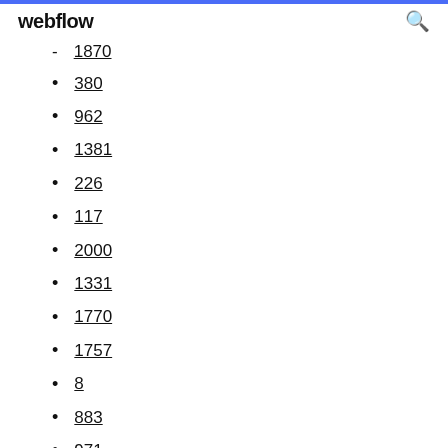webflow
1870
380
962
1381
226
117
2000
1331
1770
1757
8
883
971